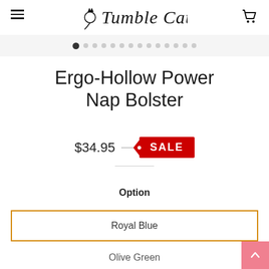Tumble Cat
Ergo-Hollow Power Nap Bolster
$34.95 SALE
Option
Royal Blue
Olive Green